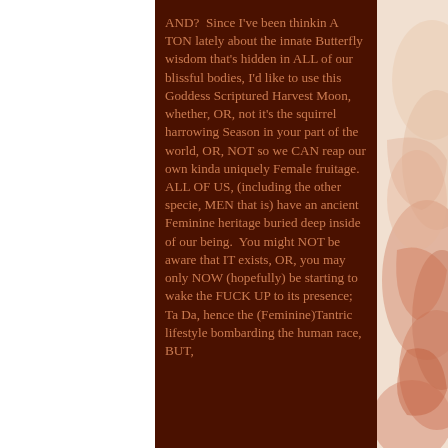AND?  Since I've been thinkin A TON lately about the innate Butterfly wisdom that's hidden in ALL of our blissful bodies, I'd like to use this Goddess Scriptured Harvest Moon, whether, OR, not it's the squirrel harrowing Season in your part of the world, OR, NOT so we CAN reap our own kinda uniquely Female fruitage. ALL OF US, (including the other specie, MEN that is) have an ancient Feminine heritage buried deep inside of our being.  You might NOT be aware that IT exists, OR, you may only NOW (hopefully) be starting to wake the FUCK UP to its presence; Ta Da, hence the (Feminine)Tantric lifestyle bombarding the human race, BUT,